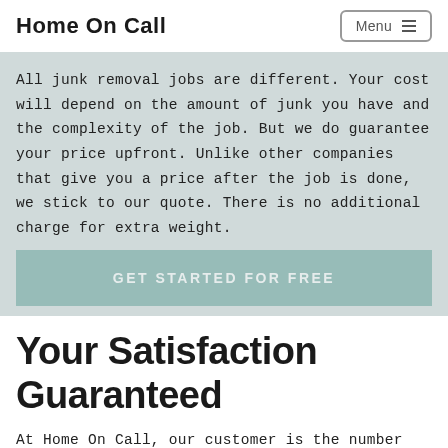Home On Call
All junk removal jobs are different. Your cost will depend on the amount of junk you have and the complexity of the job. But we do guarantee your price upfront. Unlike other companies that give you a price after the job is done, we stick to our quote. There is no additional charge for extra weight.
GET STARTED FOR FREE
Your Satisfaction Guaranteed
At Home On Call, our customer is the number one priority. We want to make sure that you are 100%